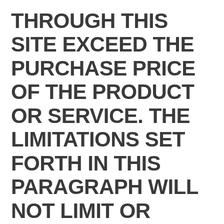THROUGH THIS SITE EXCEED THE PURCHASE PRICE OF THE PRODUCT OR SERVICE. THE LIMITATIONS SET FORTH IN THIS PARAGRAPH WILL NOT LIMIT OR EXCLUDE OUR OR OUR RELATED PARTIES' GROSS NEGLIGENCE, FRAUD, INTENTIONAL, WILLFUL, MALICIOUS OR RECKLESS MISCONDUCT